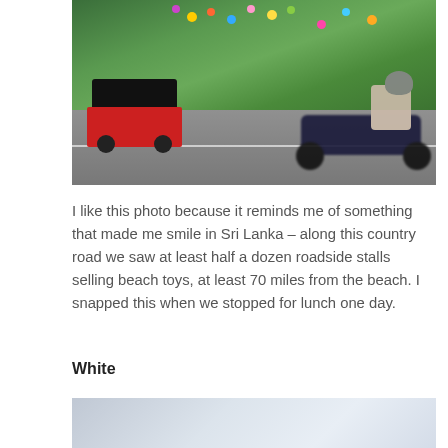[Figure (photo): A Sri Lanka country road scene with a red tuk-tuk on the left and a motorcyclist on the right, with colorful beach toy stalls and tropical foliage along the roadside in the background.]
I like this photo because it reminds me of something that made me smile in Sri Lanka – along this country road we saw at least half a dozen roadside stalls selling beach toys, at least 70 miles from the beach. I snapped this when we stopped for lunch one day.
White
[Figure (photo): Bottom portion of a second photo, showing a light grey-blue sky or background, partially visible at the bottom of the page.]